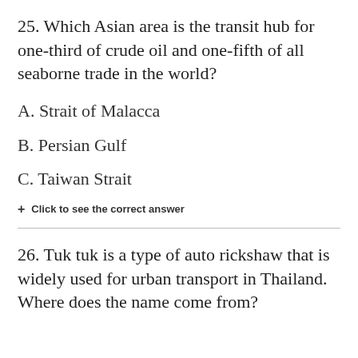25. Which Asian area is the transit hub for one-third of crude oil and one-fifth of all seaborne trade in the world?
A. Strait of Malacca
B. Persian Gulf
C. Taiwan Strait
+ Click to see the correct answer
26. Tuk tuk is a type of auto rickshaw that is widely used for urban transport in Thailand. Where does the name come from?